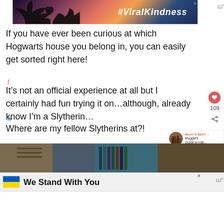[Figure (screenshot): Advertisement banner with hands forming a heart shape against a sunset sky, text '#ViralKindness']
If you have ever been curious at which Hogwarts house you belong in, you can easily get sorted right here!
It's not an official experience at all but I certainly had fun trying it on...although, already know I'm a Slytherin...
Where are my fellow Slytherins at?!
[Figure (screenshot): Thumbnail image for 'What's Next' panel: Muggle's Guide to Har...]
[Figure (photo): Article image showing interior of what appears to be a Harry Potter themed location]
[Figure (screenshot): Advertisement banner: 'We Stand With You' with Ukrainian flag colors]